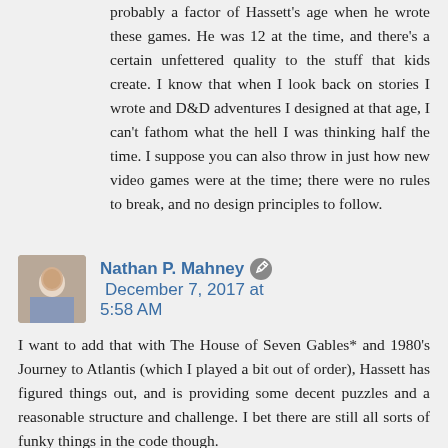probably a factor of Hassett's age when he wrote these games. He was 12 at the time, and there's a certain unfettered quality to the stuff that kids create. I know that when I look back on stories I wrote and D&D adventures I designed at that age, I can't fathom what the hell I was thinking half the time. I suppose you can also throw in just how new video games were at the time; there were no rules to break, and no design principles to follow.
Nathan P. Mahney ✎ December 7, 2017 at 5:58 AM
I want to add that with The House of Seven Gables* and 1980's Journey to Atlantis (which I played a bit out of order), Hassett has figured things out, and is providing some decent puzzles and a reasonable structure and challenge. I bet there are still all sorts of funky things in the code though.